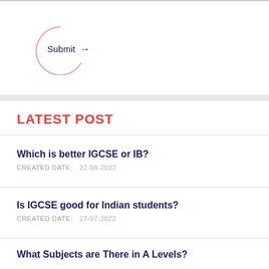[Figure (illustration): A pink partial circle (arc) with 'Submit →' text inside, acting as a button UI element]
LATEST POST
Which is better IGCSE or IB?
CREATED DATE:   22-08-2022
Is IGCSE good for Indian students?
CREATED DATE:   27-07-2022
What Subjects are There in A Levels?